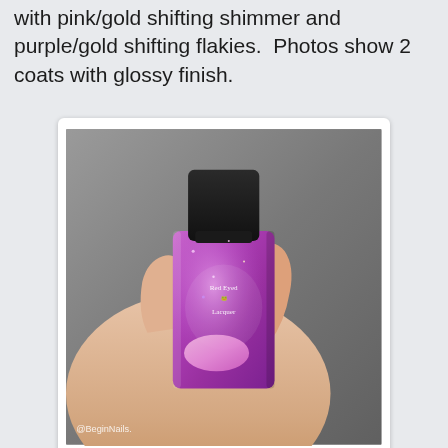with pink/gold shifting shimmer and purple/gold shifting flakies.  Photos show 2 coats with glossy finish.
[Figure (photo): A hand holding a square bottle of purple/magenta nail polish with 'Red Eyed Lacquer' label. The fingernail is painted with a pink shimmer color. Watermark @BeginNails at bottom left.]
[Figure (photo): Partial view of nails showing pink shimmer nail polish on fingers, dark background on left side.]